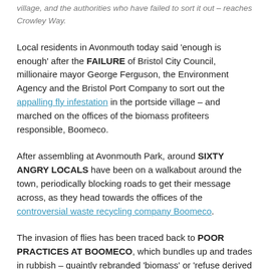village, and the authorities who have failed to sort it out – reaches Crowley Way.
Local residents in Avonmouth today said 'enough is enough' after the FAILURE of Bristol City Council, millionaire mayor George Ferguson, the Environment Agency and the Bristol Port Company to sort out the appalling fly infestation in the portside village – and marched on the offices of the biomass profiteers responsible, Boomeco.
After assembling at Avonmouth Park, around SIXTY ANGRY LOCALS have been on a walkabout around the town, periodically blocking roads to get their message across, as they head towards the offices of the controversial waste recycling company Boomeco.
The invasion of flies has been traced back to POOR PRACTICES AT BOOMECO, which bundles up and trades in rubbish – quaintly rebranded 'biomass' or 'refuse derived fuel' –